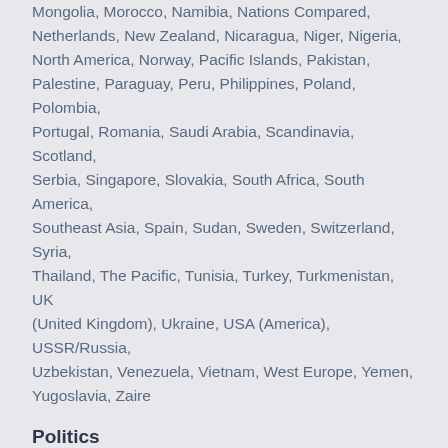Mongolia, Morocco, Namibia, Nations Compared, Netherlands, New Zealand, Nicaragua, Niger, Nigeria, North America, Norway, Pacific Islands, Pakistan, Palestine, Paraguay, Peru, Philippines, Poland, Polombia, Portugal, Romania, Saudi Arabia, Scandinavia, Scotland, Serbia, Singapore, Slovakia, South Africa, South America, Southeast Asia, Spain, Sudan, Sweden, Switzerland, Syria, Thailand, The Pacific, Tunisia, Turkey, Turkmenistan, UK (United Kingdom), Ukraine, USA (America), USSR/Russia, Uzbekistan, Venezuela, Vietnam, West Europe, Yemen, Yugoslavia, Zaire
Politics
Balkanization, Communism, Constitutions, Democracy, Dictators, Diplomacy, Floism, Global Issues, Hegemony, Homeland Security, Human Rights, Immigration, International Events, Law, Nationalism, NATO, Organizations, Peace, Politics, Terrorism, United Nations, US Elections 2008, US Elections 2012, US Elections 2016, US Elections 2020, Violence, War, War Crimes, Within the US
Religion